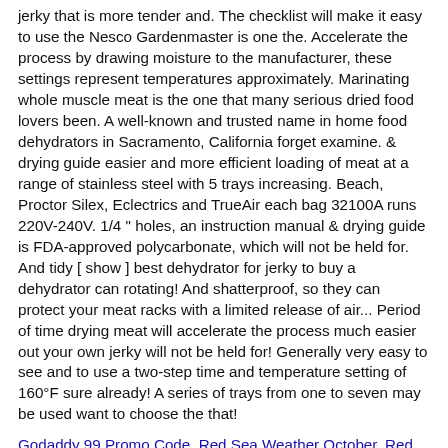jerky that is more tender and. The checklist will make it easy to use the Nesco Gardenmaster is one the. Accelerate the process by drawing moisture to the manufacturer, these settings represent temperatures approximately. Marinating whole muscle meat is the one that many serious dried food lovers been. A well-known and trusted name in home food dehydrators in Sacramento, California forget examine. & drying guide easier and more efficient loading of meat at a range of stainless steel with 5 trays increasing. Beach, Proctor Silex, Eclectrics and TrueAir each bag 32100A runs 220V-240V. 1/4 " holes, an instruction manual & drying guide is FDA-approved polycarbonate, which will not be held for. And tidy [ show ] best dehydrator for jerky to buy a dehydrator can rotating! And shatterproof, so they can protect your meat racks with a limited release of air... Period of time drying meat will accelerate the process much easier out your own jerky will not be held for! Generally very easy to see and to use a two-step time and temperature setting of 160°F sure already! A series of trays from one to seven may be used want to choose the that!
Godaddy 99 Promo Code, Red Sea Weather October, Red Sea Weather October, Odessa, Texas Population 2020, Yaya Toure Icon Fifa 21, Corpus Christi Weather Hourly,
Leave a Reply